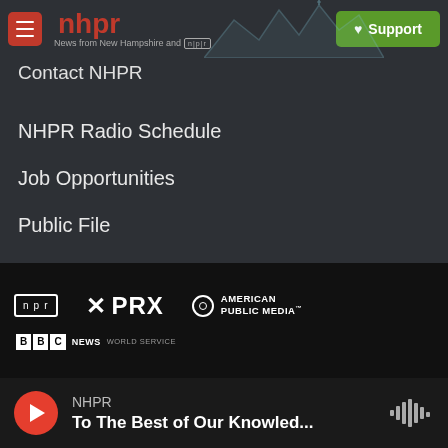nhpr — News from New Hampshire and NPR | Support
Contact NHPR
NHPR Radio Schedule
Job Opportunities
Public File
Terms Of Use
[Figure (logo): Partner logos: NPR, PRX, American Public Media, BBC News World Service]
NHPR — To The Best of Our Knowled...